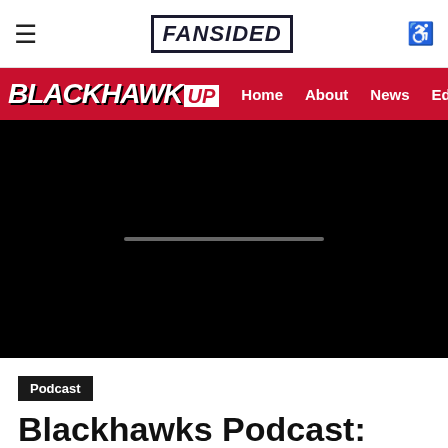FanSided
BLACKHAWK UP | Home | About | News | Editorials | An
[Figure (screenshot): Black video player area with a horizontal progress/loading bar in the center]
Podcast
Blackhawks Podcast: Introducing the Blackhawk